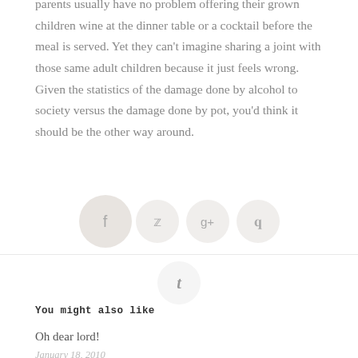parents usually have no problem offering their grown children wine at the dinner table or a cocktail before the meal is served. Yet they can't imagine sharing a joint with those same adult children because it just feels wrong. Given the statistics of the damage done by alcohol to society versus the damage done by pot, you'd think it should be the other way around.
[Figure (infographic): Social sharing buttons: Facebook (f), Twitter (bird), Google+ (g+), Pinterest (p), and Tumblr (t)]
You might also like
Oh dear lord!
January 18, 2010
Tattle tales